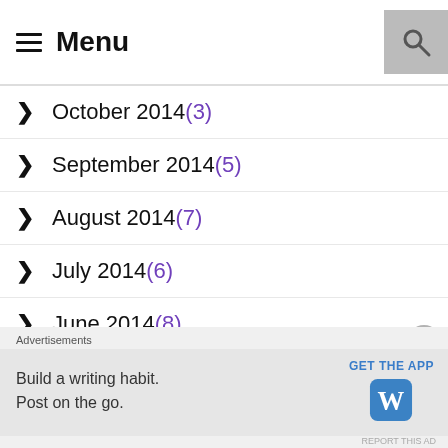≡ Menu
October 2014 (3)
September 2014 (5)
August 2014 (7)
July 2014 (6)
June 2014 (8)
May 2014 (15)
April 2014 (12)
Advertisements
Build a writing habit. Post on the go.
GET THE APP